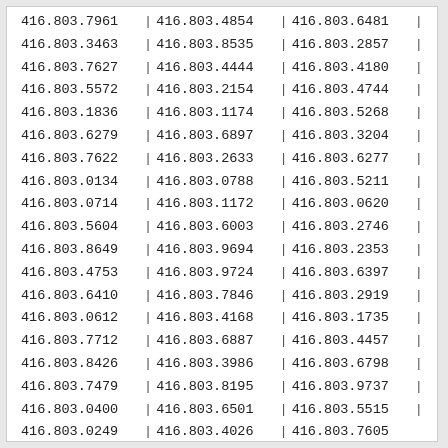| col1 | col2 | col3 |
| --- | --- | --- |
| 416.803.7961 | 416.803.4854 | 416.803.6481 |
| 416.803.3463 | 416.803.8535 | 416.803.2857 |
| 416.803.7627 | 416.803.4444 | 416.803.4180 |
| 416.803.5572 | 416.803.2154 | 416.803.4744 |
| 416.803.1836 | 416.803.1174 | 416.803.5268 |
| 416.803.6279 | 416.803.6897 | 416.803.3204 |
| 416.803.7622 | 416.803.2633 | 416.803.6277 |
| 416.803.0134 | 416.803.0788 | 416.803.5211 |
| 416.803.0714 | 416.803.1172 | 416.803.0620 |
| 416.803.5604 | 416.803.6003 | 416.803.2746 |
| 416.803.8649 | 416.803.9694 | 416.803.2353 |
| 416.803.4753 | 416.803.9724 | 416.803.6397 |
| 416.803.6410 | 416.803.7846 | 416.803.2919 |
| 416.803.0612 | 416.803.4168 | 416.803.1735 |
| 416.803.7712 | 416.803.6887 | 416.803.4457 |
| 416.803.8426 | 416.803.3986 | 416.803.6798 |
| 416.803.7479 | 416.803.8195 | 416.803.9737 |
| 416.803.0400 | 416.803.6501 | 416.803.5515 |
| 416.803.0249 | 416.803.4026 | 416.803.7605 |